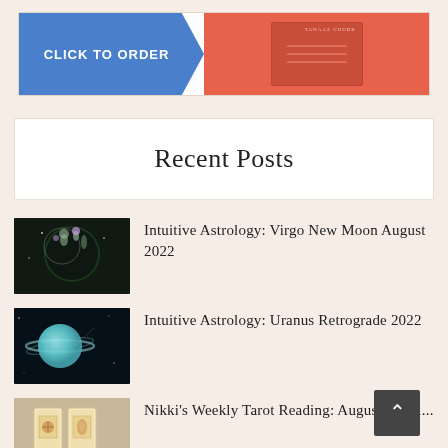[Figure (illustration): Top banner with blue arrow shape containing 'CLICK TO ORDER' text and red/coral book cover image on right]
Recent Posts
[Figure (photo): Dark circular moon image with flowers/plants silhouette]
Intuitive Astrology: Virgo New Moon August 2022
[Figure (photo): Planet Uranus with rings against dark space background]
Intuitive Astrology: Uranus Retrograde 2022
[Figure (photo): Two tarot cards laying on a wooden surface]
Nikki's Weekly Tarot Reading: August 15-21...
[Figure (photo): Ferris wheel against blue sky with clouds and vines]
Virgo Season Horoscopes 2022